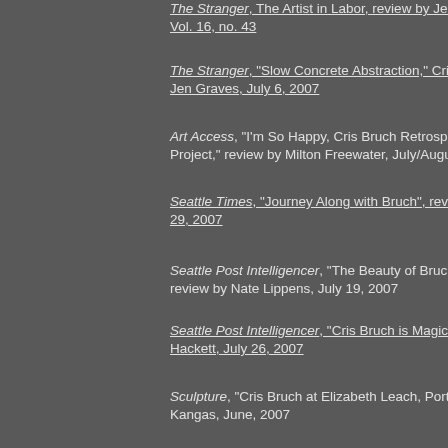The Stranger, The Artist in Labor, review by Jen Graves, Vol. 16, no. 43
The Stranger, "Slow Concrete Abstraction," Cris Bruch, Jen Graves, July 6, 2007
Art Access, "I'm So Happy, Cris Bruch Retrospective Project," review by Milton Freewater, July/August, 2007
Seattle Times, "Journey Along with Bruch", review by ..., 29, 2007
Seattle Post Intelligencer, "The Beauty of Bruch is in...," review by Nate Lippens, July 19, 2007
Seattle Post Intelligencer, "Cris Bruch is Magic," review by Hackett, July 26, 2007
Sculpture, "Cris Bruch at Elizabeth Leach, Portland," Kangas, June, 2007
Art in America, "Cris Bruch at Elizabeth Leach," review, April, 2007
Artweek, "Cris Bruch: Remains to be Seen at Elizabeth...," review by Daniel Duford, September 2006
Art in America, "Report from Seattle," by Janet Koplos...
Artweek, "Cris Bruch at Boise Art Museum," review by..., June 2004
Salt Lake Tribune, "The Complicated Beauty of Cris...," Christy Karras, February 18, 2004
Seattle Post Intelligencer, "Bruch's Sculpture Defies..."